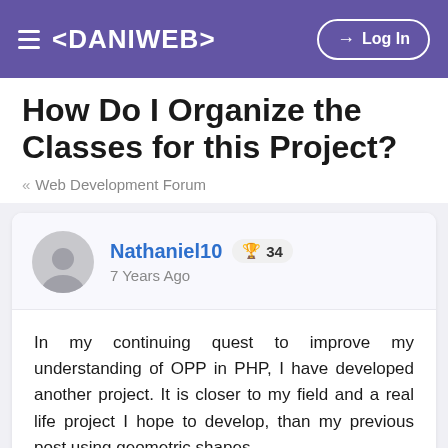< DANIWEB > | Log In
How Do I Organize the Classes for this Project?
« Web Development Forum
Nathaniel10  🏆 34
7 Years Ago
In my continuing quest to improve my understanding of OPP in PHP, I have developed another project. It is closer to my field and a real life project I hope to develop, than my previous post using geometric shapes.
This draft program is the simplest version. I want to increase the complexity of this example and that requires more a complex class structure. I don't know how to do